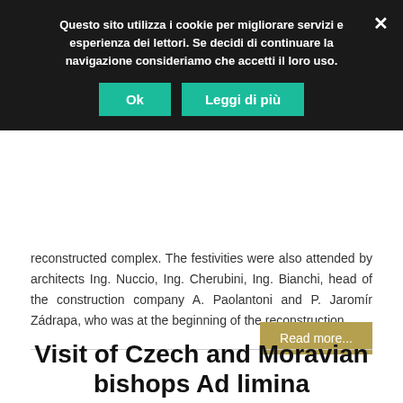Questo sito utilizza i cookie per migliorare servizi e esperienza dei lettori. Se decidi di continuare la navigazione consideriamo che accetti il loro uso.
reconstructed complex. The festivities were also attended by architects Ing. Nuccio, Ing. Cherubini, Ing. Bianchi, head of the construction company A. Paolantoni and P. Jaromír Zádrapa, who was at the beginning of the reconstruction.
Read more...
Visit of Czech and Moravian bishops Ad limina